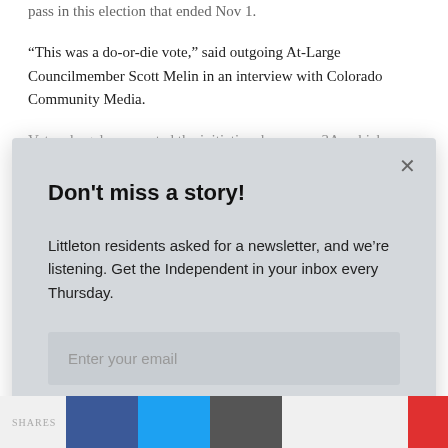pass in this election that ended Nov 1.
“This was a do-or-die vote,” said outgoing At-Large Councilmember Scott Melin in an interview with Colorado Community Media.
Voters largely supported the initiative, known as 3A, which
Don't miss a story!
Littleton residents asked for a newsletter, and we’re listening. Get the Independent in your inbox every Thursday.
Enter your email
Sign up
SHARES